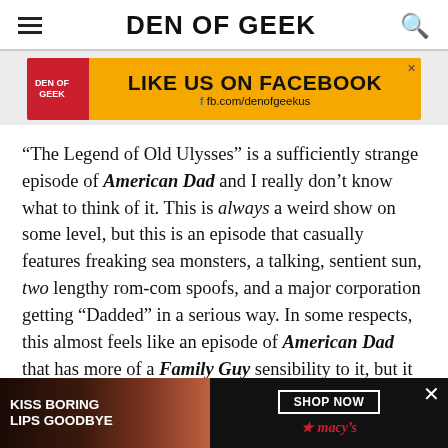DEN OF GEEK
[Figure (infographic): Den of Geek advertisement banner: 'LIKE US ON FACEBOOK' with facebook URL fb.com/denofgeekus on yellow/orange background with red Den of Geek logo box on left]
“The Legend of Old Ulysses” is a sufficiently strange episode of American Dad and I really don’t know what to think of it. This is always a weird show on some level, but this is an episode that casually features freaking sea monsters, a talking, sentient sun, two lengthy rom-com spoofs, and a major corporation getting “Dadded” in a serious way. In some respects, this almost feels like an episode of American Dad that has more of a Family Guy sensibility to it, but it never goes too far to that extreme and “The Legend of Old Ulysses” does a fairly good job at keeping all of this disparate chaos corralled, but boy is it a
[Figure (photo): Macy's advertisement: 'KISS BORING LIPS GOODBYE' with SHOP NOW button and Macy's star logo on dark background with woman's face]